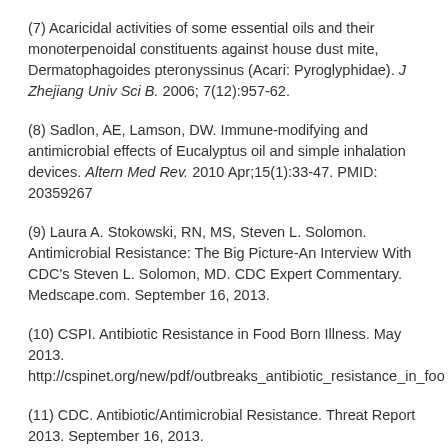(7) Acaricidal activities of some essential oils and their monoterpenoidal constituents against house dust mite, Dermatophagoides pteronyssinus (Acari: Pyroglyphidae). J Zhejiang Univ Sci B. 2006; 7(12):957-62.
(8) Sadlon, AE, Lamson, DW. Immune-modifying and antimicrobial effects of Eucalyptus oil and simple inhalation devices. Altern Med Rev. 2010 Apr;15(1):33-47. PMID: 20359267
(9) Laura A. Stokowski, RN, MS, Steven L. Solomon. Antimicrobial Resistance: The Big Picture-An Interview With CDC's Steven L. Solomon, MD. CDC Expert Commentary. Medscape.com. September 16, 2013.
(10) CSPI. Antibiotic Resistance in Food Born Illness. May 2013. http://cspinet.org/new/pdf/outbreaks_antibiotic_resistance_in_foo
(11) CDC. Antibiotic/Antimicrobial Resistance. Threat Report 2013. September 16, 2013. http://www.cdc.gov/drugresistance/threat-report-2013/